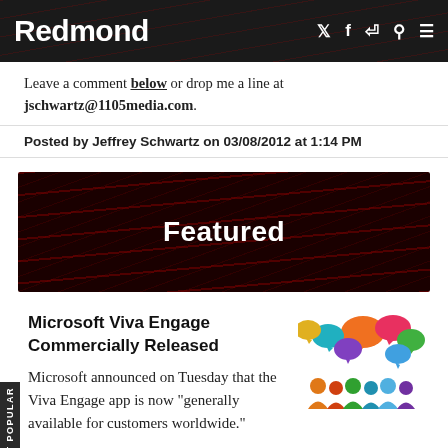Redmond
Leave a comment below or drop me a line at jschwartz@1105media.com.
Posted by Jeffrey Schwartz on 03/08/2012 at 1:14 PM
[Figure (other): Featured banner with dark red textured background and white bold 'Featured' text]
Microsoft Viva Engage Commercially Released
[Figure (illustration): Colorful chat bubbles illustration with people silhouettes below in various colors including orange, green, blue, purple, yellow, pink]
Microsoft announced on Tuesday that the Viva Engage app is now "generally available for customers worldwide."